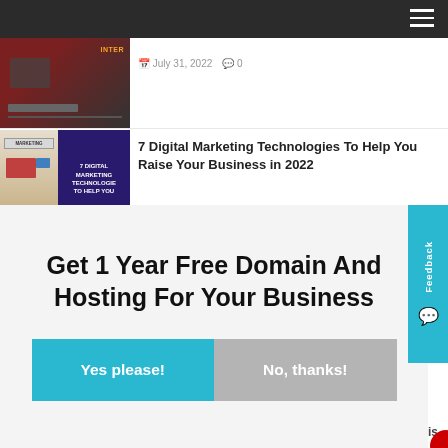Navigation bar with hamburger menu
[Figure (photo): Article thumbnail showing a person with red clothing and dark background, with 'INTER' text label visible]
July 31, 2022  0
[Figure (photo): Thumbnail for digital marketing article: left side shows marketing imagery, right side shows purple background with '7 DIGITAL MARKETING TECHNOLOGIES TO HELP YOU' text]
7 Digital Marketing Technologies To Help You Raise Your Business in 2022
Get 1 Year Free Domain And Hosting For Your Business
Yes please!
No, thanks!
Feedback
AddThis